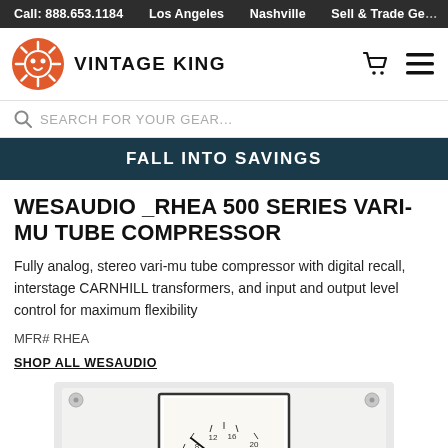Call: 888.653.1184   Los Angeles   Nashville   Sell & Trade Ge...
[Figure (logo): Vintage King logo — orange stylized face/sun icon with the words VINTAGE KING in bold caps]
SEARCH FOR YOUR GEAR...
FALL INTO SAVINGS
WESAUDIO _RHEA 500 SERIES VARI-MU TUBE COMPRESSOR
Fully analog, stereo vari-mu tube compressor with digital recall, interstage CARNHILL transformers, and input and output level control for maximum flexibility
MFR# RHEA
SHOP ALL WESAUDIO
[Figure (photo): Photo of WesAudio _Rhea 500-series vari-mu tube compressor hardware showing a VU meter on a silver/white panel with screws in the corners]